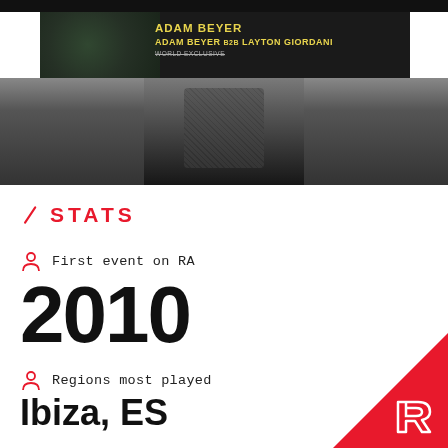[Figure (photo): Top banner showing Adam Beyer promotional image with yellow text on dark background, and a DJ photo in grayscale below]
STATS
First event on RA
2010
Regions most played
Ibiza, ES